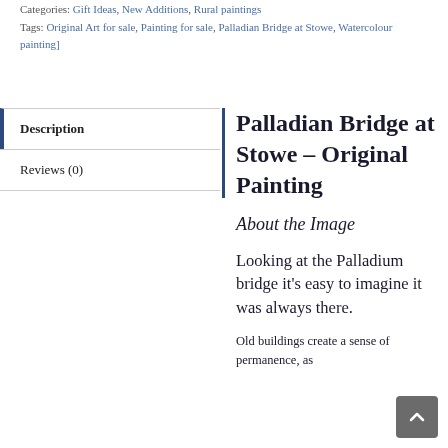Categories: Gift Ideas, New Additions, Rural paintings
Tags: Original Art for sale, Painting for sale, Palladian Bridge at Stowe, Watercolour painting]
Description
Reviews (0)
Palladian Bridge at Stowe – Original Painting
About the Image
Looking at the Palladium bridge it's easy to imagine it was always there.
Old buildings create a sense of permanence, as